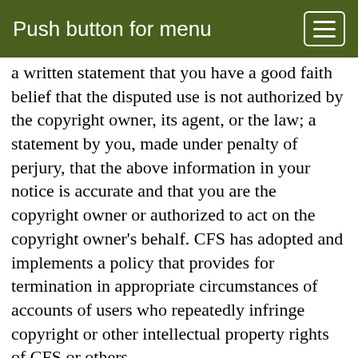Push button for menu
a written statement that you have a good faith belief that the disputed use is not authorized by the copyright owner, its agent, or the law; a statement by you, made under penalty of perjury, that the above information in your notice is accurate and that you are the copyright owner or authorized to act on the copyright owner's behalf. CFS has adopted and implements a policy that provides for termination in appropriate circumstances of accounts of users who repeatedly infringe copyright or other intellectual property rights of CFS or others.
7.    Indemnification. You agree that you will be personally responsible for your use of